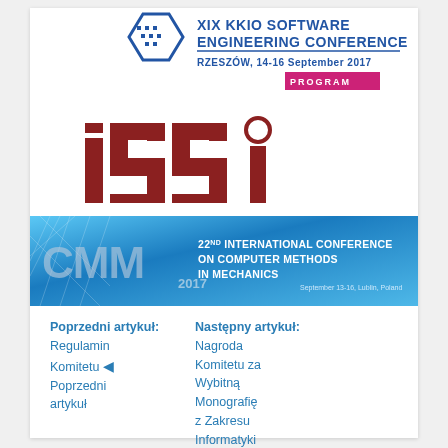[Figure (logo): XIX KKIO Software Engineering Conference logo with hexagon icon, title text and date RZESZÓW, 14-16 September 2017, with pink PROGRAM button]
[Figure (logo): ISSI logo - large red/maroon stylized letters iSSi on white background]
[Figure (logo): CMM 2017 banner - 22nd International Conference on Computer Methods in Mechanics, September 13-16, Lublin, Poland, blue gradient background]
Poprzedni artykuł: Regulamin Komitetu ◄ Poprzedni artykuł
Następny artykuł: Nagroda Komitetu za Wybitną Monografię z Zakresu Informatyki Następny artykuł ►